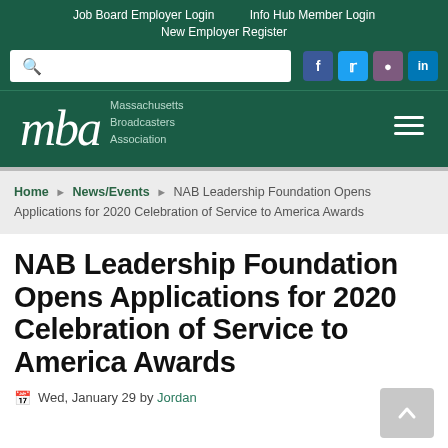Job Board Employer Login   Info Hub Member Login   New Employer Register
[Figure (screenshot): Navigation bar with search box and social media icons (Facebook, Twitter, Instagram, LinkedIn) on dark green background]
[Figure (logo): MBA Massachusetts Broadcasters Association logo in white on dark green background with hamburger menu icon]
Home > News/Events > NAB Leadership Foundation Opens Applications for 2020 Celebration of Service to America Awards
NAB Leadership Foundation Opens Applications for 2020 Celebration of Service to America Awards
Wed, January 29 by Jordan